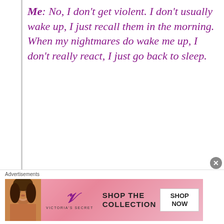Me: No, I don't get violent. I don't usually wake up, I just recall them in the morning. When my nightmares do wake me up, I don't really react, I just go back to sleep.
Doris: Do you ever disassociate? For example, others describe it as their brain leaving their body and watching things from outside your body. Others lose
[Figure (other): Victoria's Secret advertisement banner with model photo, VS logo, 'SHOP THE COLLECTION' text and 'SHOP NOW' button]